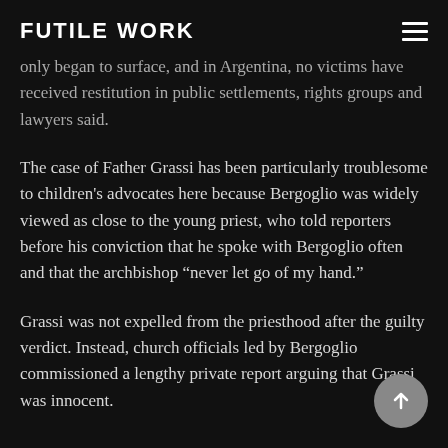FUTILE WORK
only began to surface, and in Argentina, no victims have received restitution in public settlements, rights groups and lawyers said.
The case of Father Grassi has been particularly troublesome to children's advocates here because Bergoglio was widely viewed as close to the young priest, who told reporters before his conviction that he spoke with Bergoglio often and that the archbishop “never let go of my hand.”
Grassi was not expelled from the priesthood after the guilty verdict. Instead, church officials led by Bergoglio commissioned a lengthy private report arguing that Grassi was innocent.